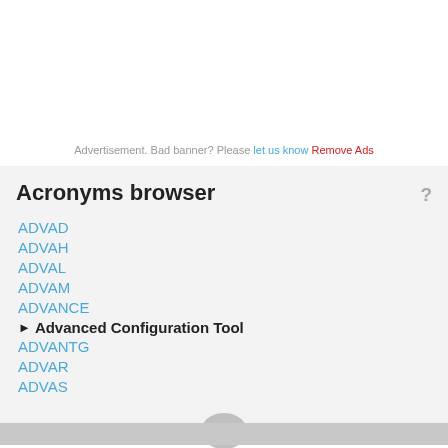Advertisement. Bad banner? Please let us know Remove Ads
Acronyms browser
ADVAD
ADVAH
ADVAL
ADVAM
ADVANCE
▶ Advanced Configuration Tool
ADVANTG
ADVAR
ADVAS